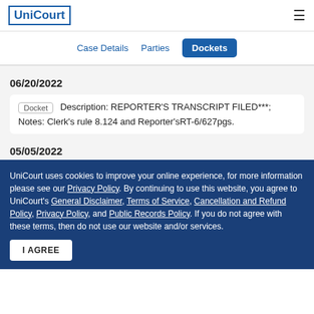UniCourt
Case Details  Parties  Dockets
06/20/2022
Docket  Description: REPORTER'S TRANSCRIPT FILED***; Notes: Clerk's rule 8.124 and Reporter'sRT-6/627pgs.
05/05/2022
UniCourt uses cookies to improve your online experience, for more information please see our Privacy Policy. By continuing to use this website, you agree to UniCourt's General Disclaimer, Terms of Service, Cancellation and Refund Policy, Privacy Policy, and Public Records Policy. If you do not agree with these terms, then do not use our website and/or services.
I AGREE